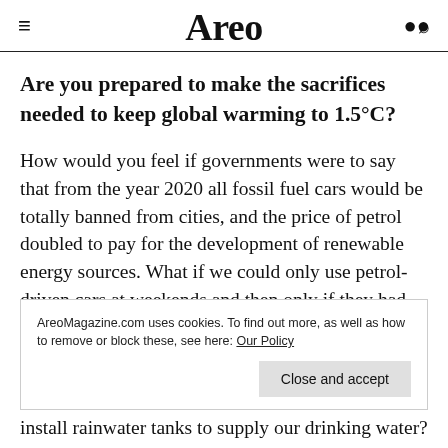Areo
Are you prepared to make the sacrifices needed to keep global warming to 1.5°C?
How would you feel if governments were to say that from the year 2020 all fossil fuel cars would be totally banned from cities, and the price of petrol doubled to pay for the development of renewable energy sources. What if we could only use petrol-driven cars at weekends and then only if they had two or more passengers? What
AreoMagazine.com uses cookies. To find out more, as well as how to remove or block these, see here: Our Policy
install rainwater tanks to supply our drinking water?